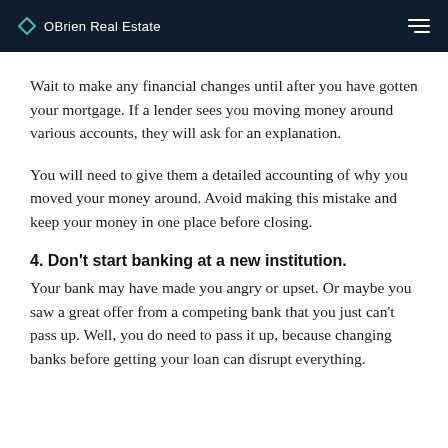OBrien Real Estate
Wait to make any financial changes until after you have gotten your mortgage. If a lender sees you moving money around various accounts, they will ask for an explanation.
You will need to give them a detailed accounting of why you moved your money around. Avoid making this mistake and keep your money in one place before closing.
4. Don't start banking at a new institution.
Your bank may have made you angry or upset. Or maybe you saw a great offer from a competing bank that you just can't pass up. Well, you do need to pass it up, because changing banks before getting your loan can disrupt everything.